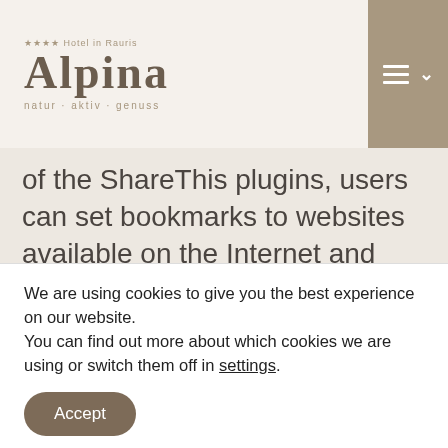[Figure (logo): Hotel Alpina logo with 4 stars, text 'Hotel in Rauris', tagline 'natur · aktiv · genuss']
of the ShareThis plugins, users can set bookmarks to websites available on the Internet and share or post links to corresponding websites in social networks such as Twitter, Facebook, Xing or Google+ or recommend the content there. If a website visitor uses one of these functions and is also online with the corresponding service (e.g. Twitter, Facebook or Google+)
We are using cookies to give you the best experience on our website.
You can find out more about which cookies we are using or switch them off in settings.
Accept